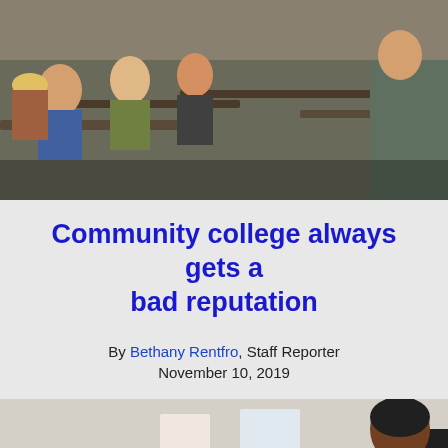[Figure (photo): Classroom scene with students sitting at desks listening to an instructor standing at the front right of the room]
Community college always gets a bad reputation
By Bethany Rentfro, Staff Reporter
November 10, 2019
[Figure (photo): Two young girls in a classroom setting looking toward a teacher or adult who is partially visible on the right side of the frame]